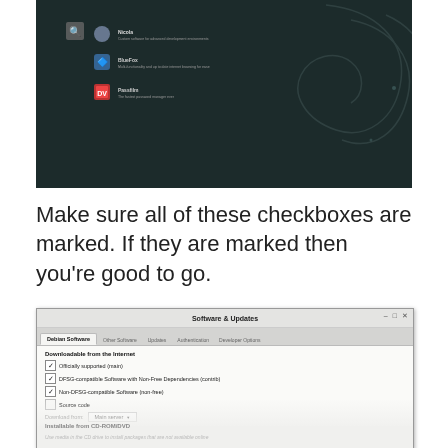[Figure (screenshot): Debian desktop screenshot with dark background showing the Debian swirl logo and three application entries in a launcher/menu]
Make sure all of these checkboxes are marked. If they are marked then you're good to go.
[Figure (screenshot): Software & Updates dialog showing Debian Software tab with checkboxes: Officially supported (main) checked, DFSG-compatible Software with Non-Free Dependencies (contrib) checked, Non-DFSG-compatible Software (non-free) checked, Source code unchecked, Download from: Main server]